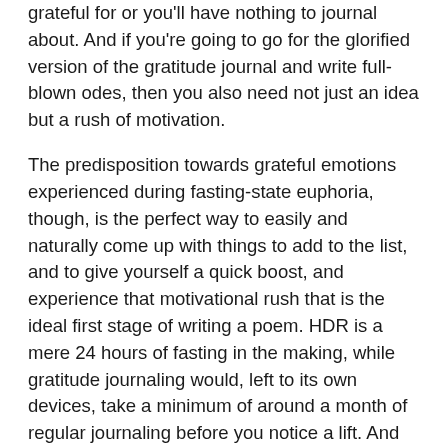grateful for or you'll have nothing to journal about. And if you're going to go for the glorified version of the gratitude journal and write full-blown odes, then you also need not just an idea but a rush of motivation.
The predisposition towards grateful emotions experienced during fasting-state euphoria, though, is the perfect way to easily and naturally come up with things to add to the list, and to give yourself a quick boost, and experience that motivational rush that is the ideal first stage of writing a poem. HDR is a mere 24 hours of fasting in the making, while gratitude journaling would, left to its own devices, take a minimum of around a month of regular journaling before you notice a lift. And like a statue by Polykleitos in contrapuntal pose with its balance of tensed and relaxed muscles, the aesthetic of the ode relies on the balance of careful composure and dynamic passion that comes by means of a well-measured after the fact